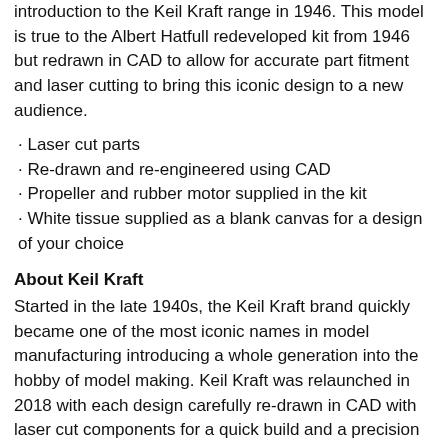introduction to the Keil Kraft range in 1946. This model is true to the Albert Hatfull redeveloped kit from 1946 but redrawn in CAD to allow for accurate part fitment and laser cutting to bring this iconic design to a new audience.
Laser cut parts
Re-drawn and re-engineered using CAD
Propeller and rubber motor supplied in the kit
White tissue supplied as a blank canvas for a design of your choice
About Keil Kraft
Started in the late 1940s, the Keil Kraft brand quickly became one of the most iconic names in model manufacturing introducing a whole generation into the hobby of model making. Keil Kraft was relaunched in 2018 with each design carefully re-drawn in CAD with laser cut components for a quick build and a precision fit.
Supplied in the Box
Laser cut balsa components
Wire, sheet & strip balsa wood